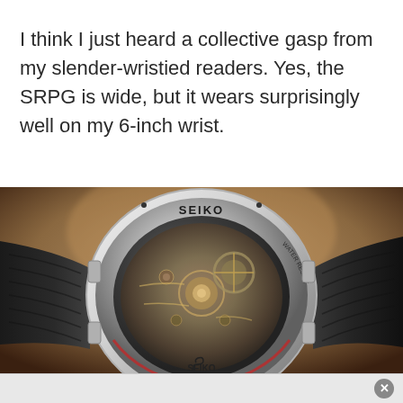I think I just heard a collective gasp from my slender-wristed readers. Yes, the SRPG is wide, but it wears surprisingly well on my 6-inch wrist.
[Figure (photo): Close-up photograph of the case back of a Seiko watch with a transparent exhibition caseback showing the mechanical movement inside, with a black leather strap on both sides. The caseback is engraved with SEIKO and shows WATER RESIST markings. The Seiko logo and S symbol appear at the bottom of the caseback.]